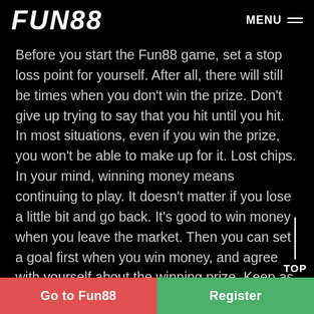FUN88  MENU
Before you start the Fun88 game, set a stop loss point for yourself. After all, there will still be times when you don't win the prize. Don't give up trying to say that you hit until you hit. In most situations, even if you win the prize, you won't be able to make up for it. Lost chips. In your mind, winning money means continuing to play. It doesn't matter if you lose a little bit and go back. It's good to win money when you leave the market. Then you can set a goal first when you win money, and agree with yourself about the winning prize. Keep as much as you want, and the others can be used to continue playing.
Go to Fun88
Register